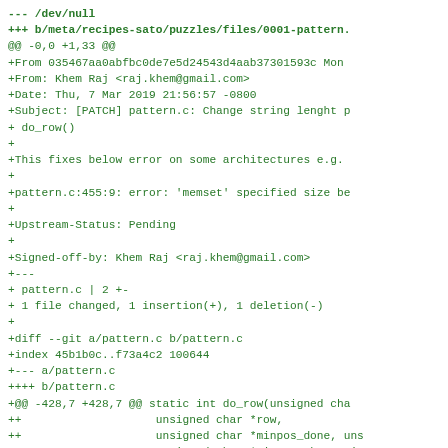--- /dev/null
+++ b/meta/recipes-sato/puzzles/files/0001-pattern.
@@ -0,0 +1,33 @@
+From 035467aa0abfbc0de7e5d24543d4aab37301593c Mon
+From: Khem Raj <raj.khem@gmail.com>
+Date: Thu, 7 Mar 2019 21:56:57 -0800
+Subject: [PATCH] pattern.c: Change string lenght p
+ do_row()
+
+This fixes below error on some architectures e.g.
+
+pattern.c:455:9: error: 'memset' specified size be
+
+Upstream-Status: Pending
+
+Signed-off-by: Khem Raj <raj.khem@gmail.com>
+---
+ pattern.c | 2 +-
+ 1 file changed, 1 insertion(+), 1 deletion(-)
+
+diff --git a/pattern.c b/pattern.c
+index 45b1b0c..f73a4c2 100644
+--- a/pattern.c
++++ b/pattern.c
+@@ -428,7 +428,7 @@ static int do_row(unsigned cha
++                    unsigned char *row,
++                    unsigned char *minpos_done, uns
++                    unsigned char *minpos_ok, unsigne
++-                   unsigned char *start, int len,
+++                   unsigned char *start, size_t le